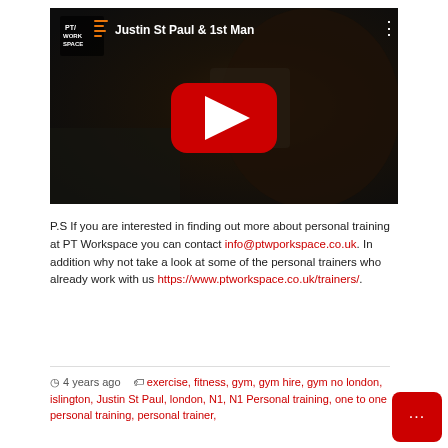[Figure (screenshot): YouTube video thumbnail showing a muscular man with title 'Justin St Paul & 1st Man' and PT Workspace logo, with red YouTube play button overlay]
P.S If you are interested in finding out more about personal training at PT Workspace you can contact info@ptwporkspace.co.uk. In addition why not take a look at some of the personal trainers who already work with us https://www.ptworkspace.co.uk/trainers/.
4 years ago  exercise, fitness, gym, gym hire, gym no london, islington, Justin St Paul, london, N1, N1 Personal training, one to one personal training, personal trainer,